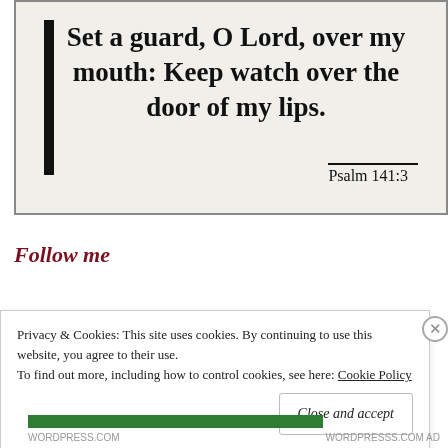[Figure (illustration): A quote image with off-white background and black border, showing a Bible verse: 'Set a guard, O Lord, over my mouth: Keep watch over the door of my lips. Psalm 141:3' with a vertical black bar on the left]
Follow me
[Figure (logo): Instagram icon: rounded square with pink/red gradient background and white camera icon]
Privacy & Cookies: This site uses cookies. By continuing to use this website, you agree to their use. To find out more, including how to control cookies, see here: Cookie Policy